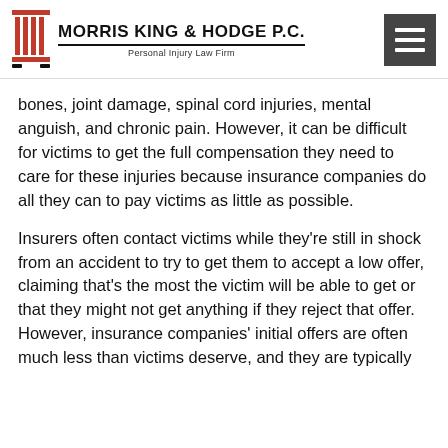MORRIS KING & HODGE P.C. — Personal Injury Law Firm
bones, joint damage, spinal cord injuries, mental anguish, and chronic pain. However, it can be difficult for victims to get the full compensation they need to care for these injuries because insurance companies do all they can to pay victims as little as possible.
Insurers often contact victims while they're still in shock from an accident to try to get them to accept a low offer, claiming that's the most the victim will be able to get or that they might not get anything if they reject that offer. However, insurance companies' initial offers are often much less than victims deserve, and they are typically